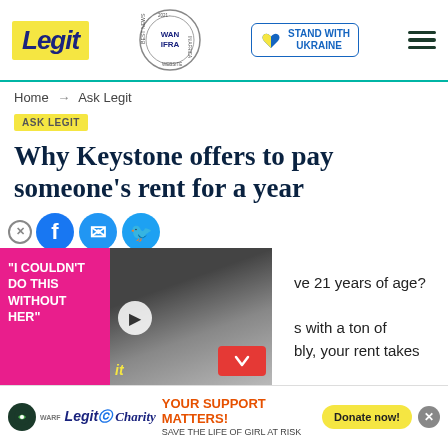Legit | WAN IFRA 2021 Best News Website in Africa | Stand with Ukraine
Home → Ask Legit
ASK LEGIT
Why Keystone offers to pay someone's rent for a year
25 AM • by Carol Karen
ve 21 years of age? If so, you s with a ton of bly, your rent takes away a om your monthly
[Figure (screenshot): Video overlay with pink quote 'I COULDN'T DO THIS WITHOUT HER' and person in dark outfit, Legit logo]
YOUR SUPPORT MATTERS! SAVE THE LIFE OF GIRL AT RISK | Legit Charity | WARF | Donate now!